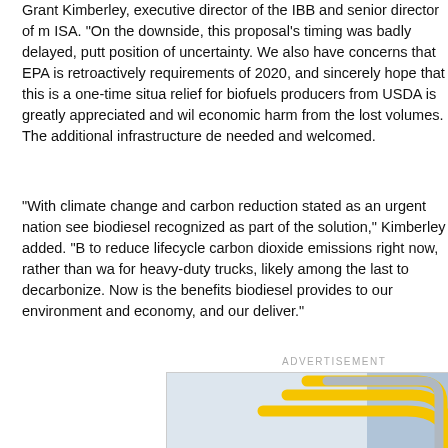Grant Kimberley, executive director of the IBB and senior director of m ISA. "On the downside, this proposal's timing was badly delayed, putt position of uncertainty. We also have concerns that EPA is retroactively requirements of 2020, and sincerely hope that this is a one-time situa relief for biofuels producers from USDA is greatly appreciated and wil economic harm from the lost volumes. The additional infrastructure de needed and welcomed.
"With climate change and carbon reduction stated as an urgent nation see biodiesel recognized as part of the solution," Kimberley added. "B to reduce lifecycle carbon dioxide emissions right now, rather than wa for heavy-duty trucks, likely among the last to decarbonize. Now is th benefits biodiesel provides to our environment and economy, and our deliver."
ADVERTISEMENT
[Figure (illustration): Advertisement banner with yellow curved stripe graphic lines on a light blue/grey background, partially visible industrial or building imagery on the right side.]